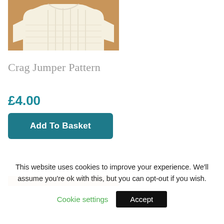[Figure (photo): A cream/off-white hand-knitted jumper with cable knit pattern laid flat on a tan/brown background, cropped at top.]
Crag Jumper Pattern
£4.00
Add To Basket
[Figure (photo): Bottom edge of a knitted jumper image, showing part of the tan background — cropped strip visible at bottom of page content.]
This website uses cookies to improve your experience. We'll assume you're ok with this, but you can opt-out if you wish.
Cookie settings
Accept